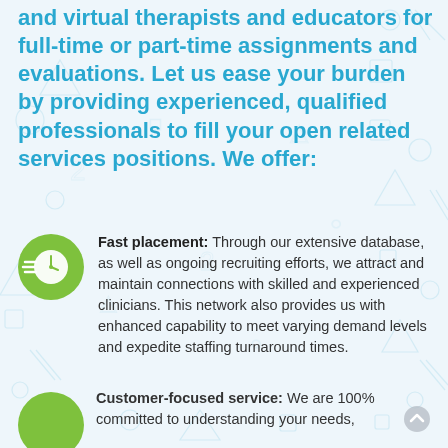and virtual therapists and educators for full-time or part-time assignments and evaluations. Let us ease your burden by providing experienced, qualified professionals to fill your open related services positions. We offer:
[Figure (illustration): Green circle icon with a clock and speed lines, representing fast placement]
Fast placement: Through our extensive database, as well as ongoing recruiting efforts, we attract and maintain connections with skilled and experienced clinicians. This network also provides us with enhanced capability to meet varying demand levels and expedite staffing turnaround times.
Customer-focused service: We are 100% committed to understanding your needs,